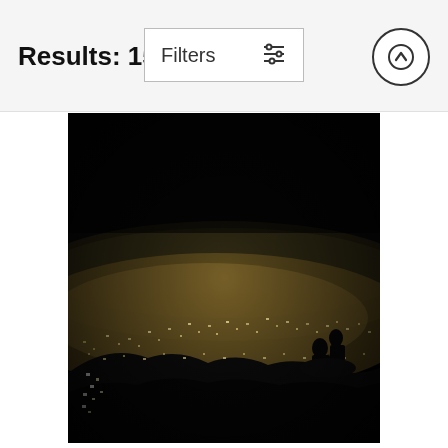Results: 157,610
Filters
[Figure (photo): Night cityscape photo showing two people sitting on a rocky hilltop overlooking a vast city lit up at night, with dark sky above and city lights spread across the valley below.]